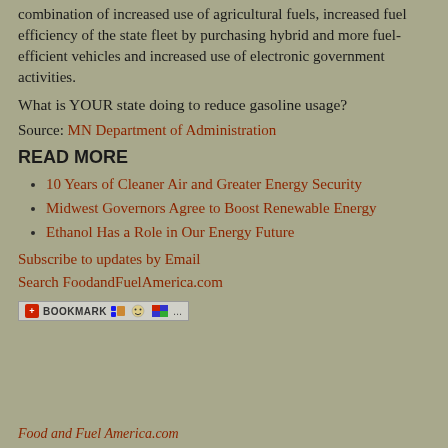combination of increased use of agricultural fuels, increased fuel efficiency of the state fleet by purchasing hybrid and more fuel-efficient vehicles and increased use of electronic government activities.
What is YOUR state doing to reduce gasoline usage?
Source: MN Department of Administration
READ MORE
10 Years of Cleaner Air and Greater Energy Security
Midwest Governors Agree to Boost Renewable Energy
Ethanol Has a Role in Our Energy Future
Subscribe to updates by Email
Search FoodandFuelAmerica.com
[Figure (other): Bookmark toolbar with red bookmark icon, del.icio.us dots, smiley face icon, and Windows flag icon followed by ellipsis]
Food and Fuel America.com